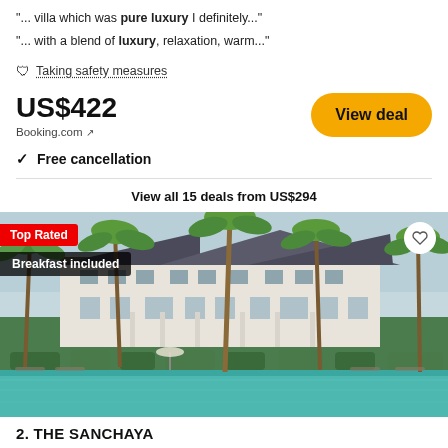"... villa which was pure luxury I definitely..."
"... with a blend of luxury, relaxation, warm..."
🛡 Taking safety measures
US$422
Booking.com ↗
View deal
✓ Free cancellation
View all 15 deals from US$294
[Figure (photo): Luxury resort hotel exterior with palm trees and swimming pool in foreground, white colonial-style building in background. Badges: Top Rated, Breakfast included. Heart/favorite button top right.]
2. THE SANCHAYA